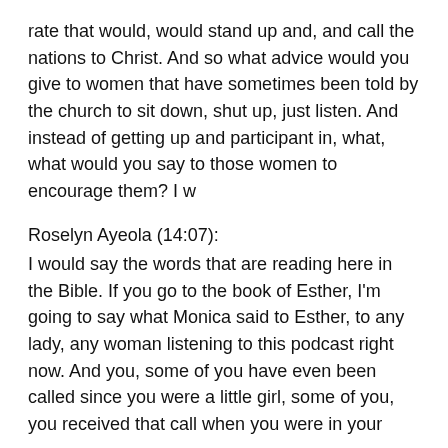rate that would, would stand up and, and call the nations to Christ. And so what advice would you give to women that have sometimes been told by the church to sit down, shut up, just listen. And instead of getting up and participant in, what, what would you say to those women to encourage them? I w
Roselyn Ayeola (14:07): I would say the words that are reading here in the Bible. If you go to the book of Esther, I'm going to say what Monica said to Esther, to any lady, any woman listening to this podcast right now. And you, some of you have even been called since you were a little girl, some of you, you received that call when you were in your